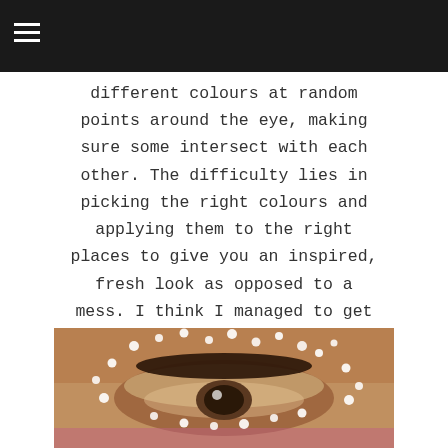different colours at random points around the eye, making sure some intersect with each other. The difficulty lies in picking the right colours and applying them to the right places to give you an inspired, fresh look as opposed to a mess. I think I managed to get it looking pretty good, and in a way they seem to resemble fireworks!
[Figure (photo): Close-up photo of an eye with decorative white dot embellishments around it, resembling fireworks or stars. The skin tone is warm brown/tan. Dark eyebrow visible. Small white pearl-like dots scattered around the eye area.]